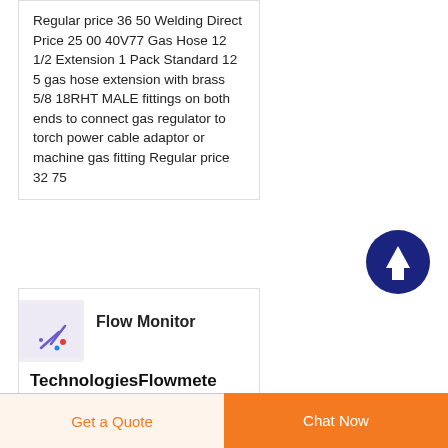Regular price 36 50 Welding Direct Price 25 00 40V77 Gas Hose 12 1/2 Extension 1 Pack Standard 12 5 gas hose extension with brass 5/8 18RHT MALE fittings on both ends to connect gas regulator to torch power cable adaptor or machine gas fitting Regular price 32 75
[Figure (other): Dark navy circular scroll-to-top button with upward arrow icon]
[Figure (illustration): Small product thumbnail image for Flow Monitor showing scattered colorful marks on light background]
Flow Monitor
TechnologiesFlowmete Universal
Universal Flow Monitors Inc
Get a Quote
Chat Now